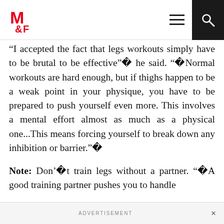M&F logo with hamburger menu and search icon
“I accepted the fact that legs workouts simply have to be brutal to be effective”� he said. “�Normal workouts are hard enough, but if thighs happen to be a weak point in your physique, you have to be prepared to push yourself even more. This involves a mental effort almost as much as a physical one...This means forcing yourself to break down any inhibition or barrier.”�
Note: Don’�t train legs without a partner. “�A good training partner pushes you to handle
ADVERTISEMENT